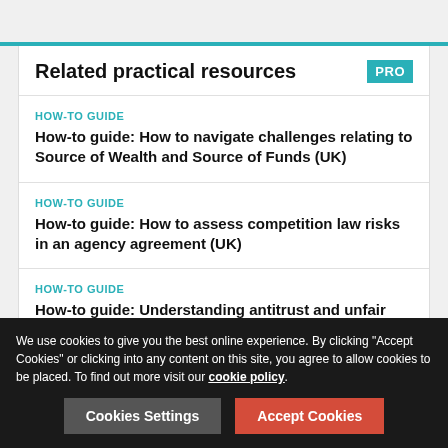Related practical resources
HOW-TO GUIDE
How-to guide: How to navigate challenges relating to Source of Wealth and Source of Funds (UK)
HOW-TO GUIDE
How-to guide: How to assess competition law risks in an agency agreement (UK)
HOW-TO GUIDE
How-to guide: Understanding antitrust and unfair trade practices law and your organization's compliance obligations (USA)
We use cookies to give you the best online experience. By clicking "Accept Cookies" or clicking into any content on this site, you agree to allow cookies to be placed. To find out more visit our cookie policy.